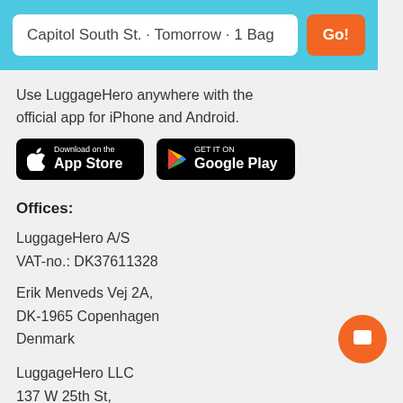Capitol South St. · Tomorrow · 1 Bag
Use LuggageHero anywhere with the official app for iPhone and Android.
[Figure (logo): App Store and Google Play download badges]
Offices:
LuggageHero A/S
VAT-no.: DK37611328
Erik Menveds Vej 2A,
DK-1965 Copenhagen
Denmark
LuggageHero LLC
137 W 25th St,
New York, NY 10011
United States